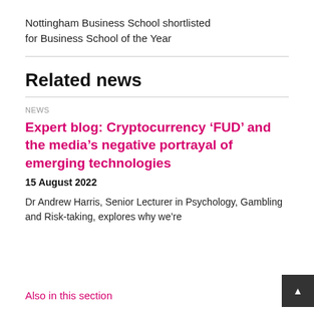Nottingham Business School shortlisted for Business School of the Year
Related news
NEWS
Expert blog: Cryptocurrency ‘FUD’ and the media’s negative portrayal of emerging technologies
15 August 2022
Dr Andrew Harris, Senior Lecturer in Psychology, Gambling and Risk-taking, explores why we’re
Also in this section